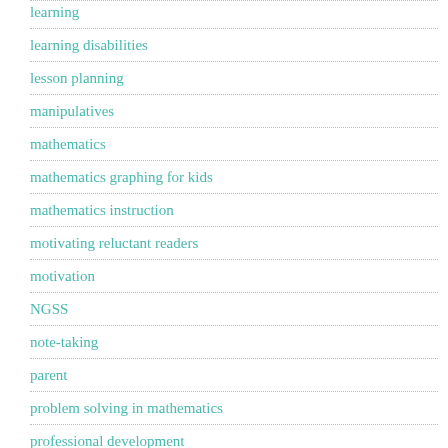learning
learning disabilities
lesson planning
manipulatives
mathematics
mathematics graphing for kids
mathematics instruction
motivating reluctant readers
motivation
NGSS
note-taking
parent
problem solving in mathematics
professional development
project-based learning
grading